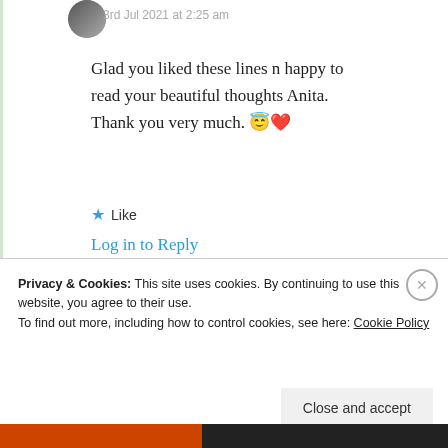3rd Jul 2021 at 2:25 am
Glad you liked these lines n happy to read your beautiful thoughts Anita. Thank you very much. 😇❤️
★ Like
Log in to Reply
cheryloreglia
Privacy & Cookies: This site uses cookies. By continuing to use this website, you agree to their use.
To find out more, including how to control cookies, see here: Cookie Policy
Close and accept